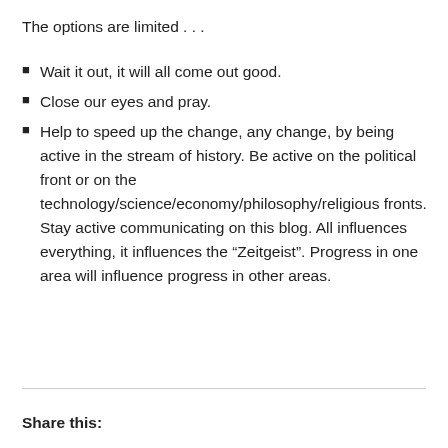The options are limited . . .
Wait it out, it will all come out good.
Close our eyes and pray.
Help to speed up the change, any change, by being active in the stream of history. Be active on the political front or on the technology/science/economy/philosophy/religious fronts. Stay active communicating on this blog. All influences everything, it influences the “Zeitgeist”. Progress in one area will influence progress in other areas.
Share this: